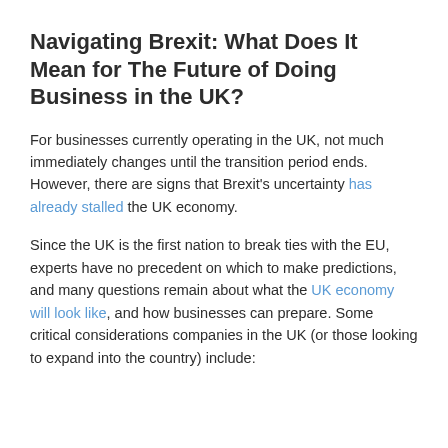Navigating Brexit: What Does It Mean for The Future of Doing Business in the UK?
For businesses currently operating in the UK, not much immediately changes until the transition period ends. However, there are signs that Brexit's uncertainty has already stalled the UK economy.
Since the UK is the first nation to break ties with the EU, experts have no precedent on which to make predictions, and many questions remain about what the UK economy will look like, and how businesses can prepare. Some critical considerations companies in the UK (or those looking to expand into the country) include: